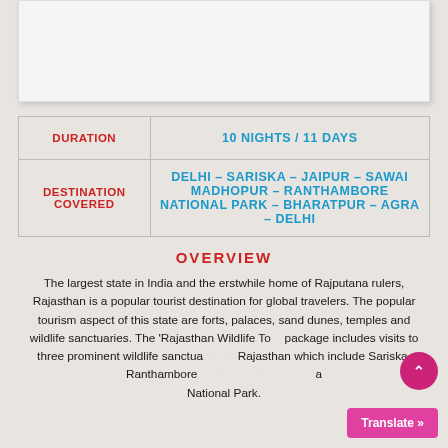[Figure (photo): Image placeholder at top of page, white/light gray rectangle]
| DURATION | 10 NIGHTS / 11 DAYS |
| DESTINATION COVERED | DELHI – SARISKA – JAIPUR – SAWAI MADHOPUR – RANTHAMBORE NATIONAL PARK – BHARATPUR – AGRA – DELHI |
OVERVIEW
The largest state in India and the erstwhile home of Rajputana rulers, Rajasthan is a popular tourist destination for global travelers. The popular tourism aspect of this state are forts, palaces, sand dunes, temples and wildlife sanctuaries. The 'Rajasthan Wildlife To... package includes visits to three prominent wildlife sanctua... Rajasthan which include Sariska, Ranthambore ... National Park.